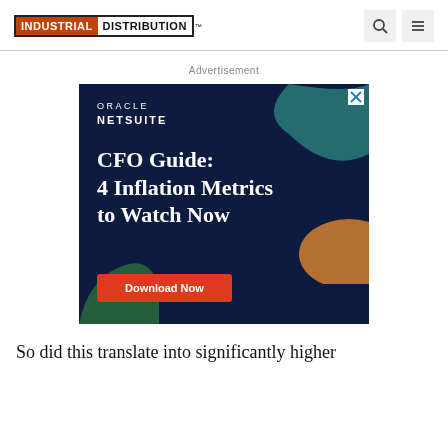INDUSTRIAL DISTRIBUTION
Advertisement
[Figure (illustration): Oracle NetSuite advertisement banner on dark navy background with teal and orange decorative shapes. Text reads: ORACLE NETSUITE — CFO Guide: 4 Inflation Metrics to Watch Now — Download Now button in red.]
So did this translate into significantly higher